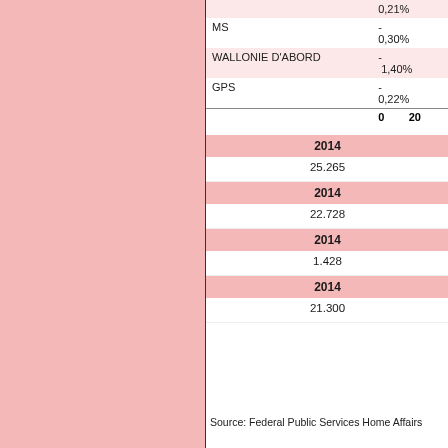| Party | Percentage |
| --- | --- |
|  | 0,21% |
| MS | - 0,30% |
| WALLONIE D'ABORD | - 1,40% |
| GPS | - 0,22% |
|  | 0  20 |
| 2014 |
| --- |
| 25.265 |
| 2014 |
| --- |
| 22.728 |
| 2014 |
| --- |
| 1.428 |
| 2014 |
| --- |
| 21.300 |
Source: Federal Public Services Home Affairs